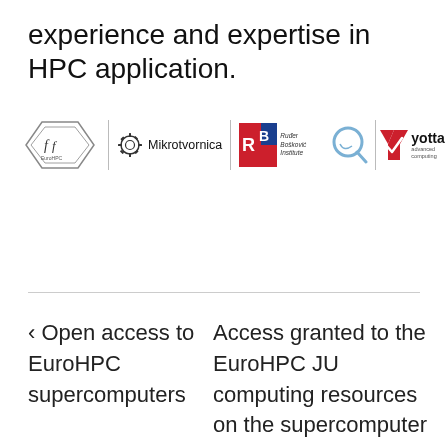experience and expertise in HPC application.
[Figure (logo): Row of partner logos: FitEuroHPC hexagon logo, Mikrotvornica gear logo with text, Ruđer Bošković Institute RBI logo, a search/Q logo, and Yotta advanced computing logo]
‹ Open access to EuroHPC supercomputers
Access granted to the EuroHPC JU computing resources on the supercomputer VEGA ›